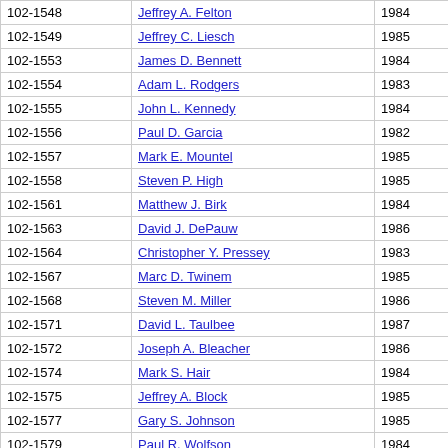| ID | Name | Year |  |
| --- | --- | --- | --- |
| 102-1548 | Jeffrey A. Felton | 1984 |  |
| 102-1549 | Jeffrey C. Liesch | 1985 |  |
| 102-1553 | James D. Bennett | 1984 |  |
| 102-1554 | Adam L. Rodgers | 1983 |  |
| 102-1555 | John L. Kennedy | 1984 |  |
| 102-1556 | Paul D. Garcia | 1982 |  |
| 102-1557 | Mark E. Mountel | 1985 |  |
| 102-1558 | Steven P. High | 1985 |  |
| 102-1561 | Matthew J. Birk | 1984 |  |
| 102-1563 | David J. DePauw | 1986 |  |
| 102-1564 | Christopher Y. Pressey | 1983 |  |
| 102-1567 | Marc D. Twinem | 1985 |  |
| 102-1568 | Steven M. Miller | 1986 |  |
| 102-1571 | David L. Taulbee | 1987 |  |
| 102-1572 | Joseph A. Bleacher | 1986 |  |
| 102-1574 | Mark S. Hair | 1984 |  |
| 102-1575 | Jeffrey A. Block | 1985 |  |
| 102-1577 | Gary S. Johnson | 1985 |  |
| 102-1579 | Paul R. Wolfson | 1984 |  |
| 102-1580 | Robert S. Keyes | 1985 |  |
| 102-1580 | ... | 1985 |  |